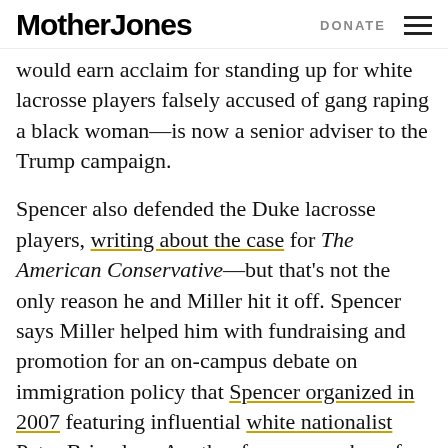Mother Jones | DONATE
would earn acclaim for standing up for white lacrosse players falsely accused of gang raping a black woman—is now a senior adviser to the Trump campaign.
Spencer also defended the Duke lacrosse players, writing about the case for The American Conservative—but that's not the only reason he and Miller hit it off. Spencer says Miller helped him with fundraising and promotion for an on-campus debate on immigration policy that Spencer organized in 2007 featuring influential white nationalist Peter Brimelow. Another former member of the DCU confirmed that Miller and Spencer worked together on the event. At DCU meetings, according to a past